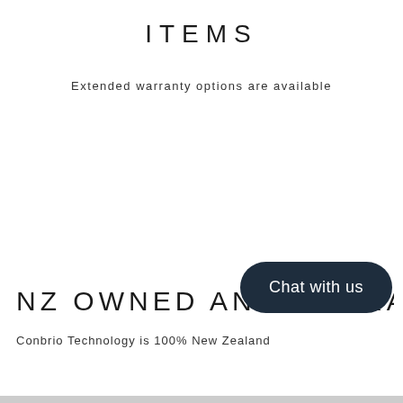ITEMS
Extended warranty options are available
NZ OWNED AND OPERATED
Conbrio Technology is 100% New Zealand
[Figure (other): Chat with us button overlay - dark navy rounded pill button with white text 'Chat with us']